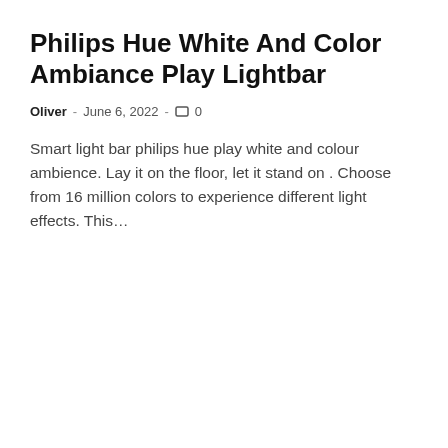Philips Hue White And Color Ambiance Play Lightbar
Oliver  -  June 6, 2022  -  □ 0
Smart light bar philips hue play white and colour ambience. Lay it on the floor, let it stand on . Choose from 16 million colors to experience different light effects. This…